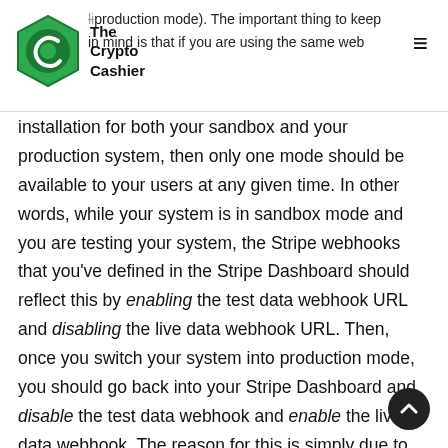The Crypto Cashier
installation for both your sandbox and your production system, then only one mode should be available to your users at any given time. In other words, while your system is in sandbox mode and you are testing your system, the Stripe webhooks that you've defined in the Stripe Dashboard should reflect this by enabling the test data webhook URL and disabling the live data webhook URL. Then, once you switch your system into production mode, you should go back into your Stripe Dashboard and disable the test data webhook and enable the live data webhook. The reason for this is simply due to the fact that there are two sets of keys – one for your sandbox/test environment and another for your production/live environment. Stripe sends out periodic